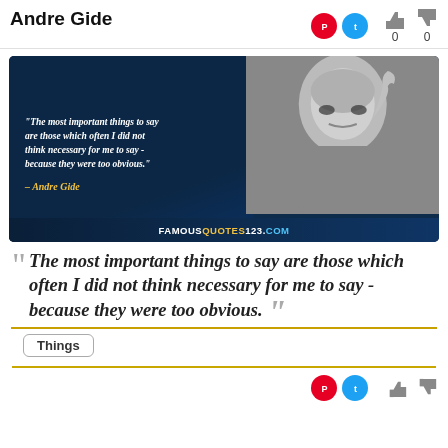Andre Gide
[Figure (illustration): Quote image card with dark blue background, showing the Andre Gide quote in white italic text on the left and a black-and-white photo of Andre Gide on the right, with 'FAMOUSQUOTES123.COM' watermark at the bottom.]
“ The most important things to say are those which often I did not think necessary for me to say - because they were too obvious. ”
Things